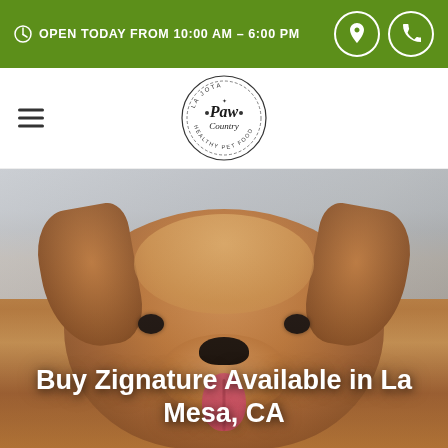OPEN TODAY FROM 10:00 AM - 6:00 PM
[Figure (logo): Paw Country healthy pet store circular logo with paw print motif]
[Figure (photo): Close-up photo of a golden retriever dog looking at camera with tongue out, used as hero image background]
Buy Zignature Available in La Mesa, CA